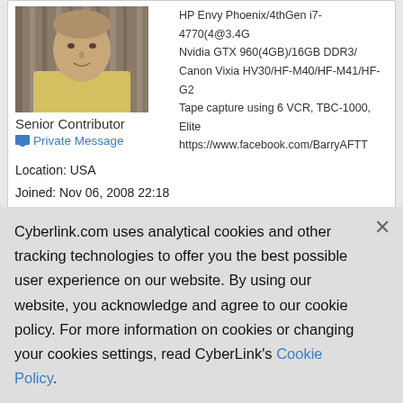[Figure (photo): Profile photo of a middle-aged man in a yellow shirt against a wooden background]
Senior Contributor
Private Message
Location: USA
Joined: Nov 06, 2008 22:18
Messages: 6172
Online
HP Envy Phoenix/4thGen i7-4770(4@3.4G
Nvidia GTX 960(4GB)/16GB DDR3/
Canon Vixia HV30/HF-M40/HF-M41/HF-G2
Tape capture using 6 VCR, TBC-1000, Elite
https://www.facebook.com/BarryAFTT
★ This helped me (0)
JL_JL
Apr 30, 2017 11:20
[Figure (photo): Default grey avatar placeholder for user JL_JL]
Quote
Quote
Cyberlink.com uses analytical cookies and other tracking technologies to offer you the best possible user experience on our website. By using our website, you acknowledge and agree to our cookie policy. For more information on cookies or changing your cookies settings, read CyberLink's Cookie Policy.